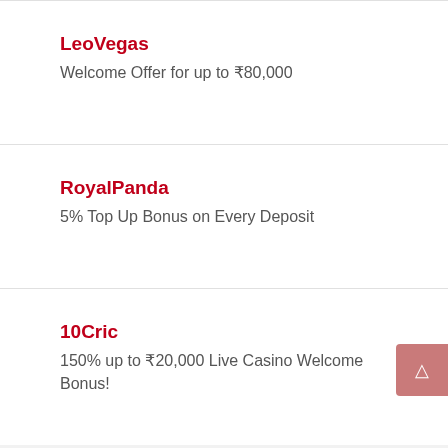LeoVegas
Welcome Offer for up to ₹80,000
RoyalPanda
5% Top Up Bonus on Every Deposit
10Cric
150% up to ₹20,000 Live Casino Welcome Bonus!